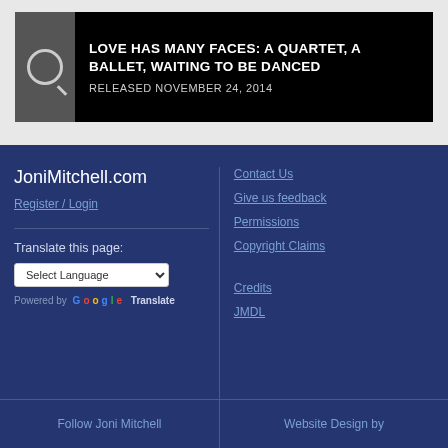[Figure (screenshot): Album entry bar with search icon and black background showing album title and release date]
LOVE HAS MANY FACES: A QUARTET, A BALLET, WAITING TO BE DANCED
RELEASED NOVEMBER 24, 2014
JoniMitchell.com
Register / Login
Translate this page:
Select Language
Powered by Google Translate
Contact Us
Give us feedback
Permissions
Copyright Claims
Credits
JMDL
Follow Joni Mitchell
Website Design by